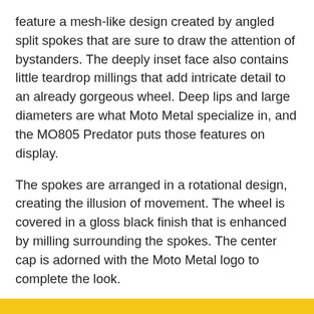feature a mesh-like design created by angled split spokes that are sure to draw the attention of bystanders. The deeply inset face also contains little teardrop millings that add intricate detail to an already gorgeous wheel. Deep lips and large diameters are what Moto Metal specialize in, and the MO805 Predator puts those features on display.
The spokes are arranged in a rotational design, creating the illusion of movement. The wheel is covered in a gloss black finish that is enhanced by milling surrounding the spokes. The center cap is adorned with the Moto Metal logo to complete the look.
Moto Metal wheels are covered under a lifetime structural warranty along with a 1 year warranty on the gloss black finish. They are made of durable cast aluminum in a 1 piece construction. Outfit your truck with the perfect off-road style wheel with the MO805 Predator from Moto Metal.